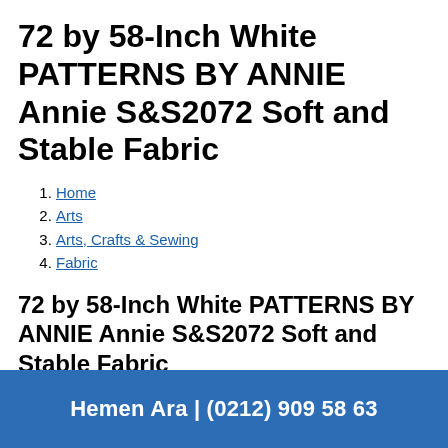72 by 58-Inch White PATTERNS BY ANNIE Annie S&S2072 Soft and Stable Fabric
Home
Arts
Arts, Crafts & Sewing
Fabric
72 by 58-Inch White PATTERNS BY ANNIE Annie S&S2072 Soft and Stable Fabric
Hemen Ara | (0212) 909 58 63